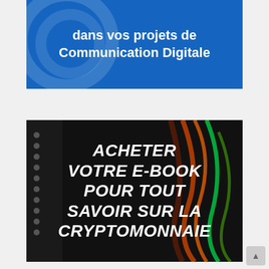[Figure (illustration): Blue banner with white bold text reading 'dans vos projets de Communication Digitale' with decorative circular patterns in the background]
[Figure (illustration): Dark background e-book advertisement with bold white italic text reading 'ACHETER VOTRE E-BOOK POUR TOUT SAVOIR SUR LA CRYPTOMONNAIE' with decorative dots on the left side and colorful cables/wires on the right]